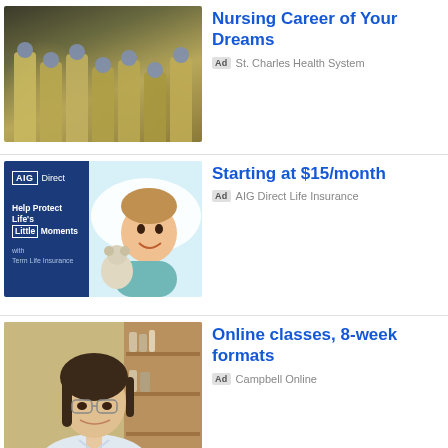[Figure (photo): Group of medical workers in yellow PPE gowns, face masks, and blue hair covers, posing together]
Nursing Career of Your Dreams
Ad  St. Charles Health System
[Figure (photo): AIG Direct life insurance advertisement showing a baby peeking under a blanket with a stuffed animal. Left side has dark blue background with AIG Direct logo and text: Help Protect Life's Little Moments with Term Life Insurance]
Starting at $15/month
Ad  AIG Direct Life Insurance
[Figure (photo): Professional woman with dark hair and glasses in a white coat, smiling, with blurred shelves in background]
Online classes, 8-week formats
Ad  Campbell Online